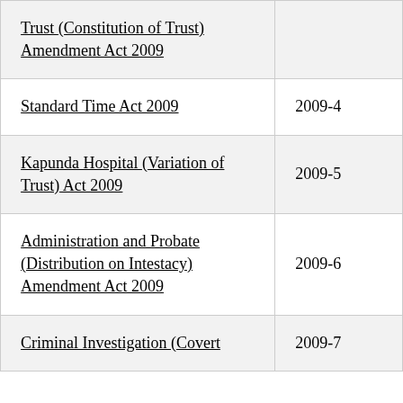| Act Name | Number |
| --- | --- |
| Trust (Constitution of Trust) Amendment Act 2009 |  |
| Standard Time Act 2009 | 2009-4 |
| Kapunda Hospital (Variation of Trust) Act 2009 | 2009-5 |
| Administration and Probate (Distribution on Intestacy) Amendment Act 2009 | 2009-6 |
| Criminal Investigation (Covert | 2009-7 |